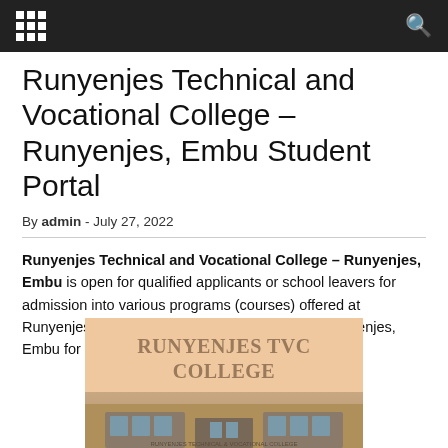[navigation bar with grid icon and search icon]
Runyenjes Technical and Vocational College – Runyenjes, Embu Student Portal
By admin - July 27, 2022
Runyenjes Technical and Vocational College – Runyenjes, Embu is open for qualified applicants or school leavers for admission into various programs (courses) offered at Runyenjes Technical and Vocational College – Runyenjes, Embu for every academic year.
[Figure (photo): College promotional image with peach/salmon background showing 'RUNYENJES TVC COLLEGE' text and a building photograph below]